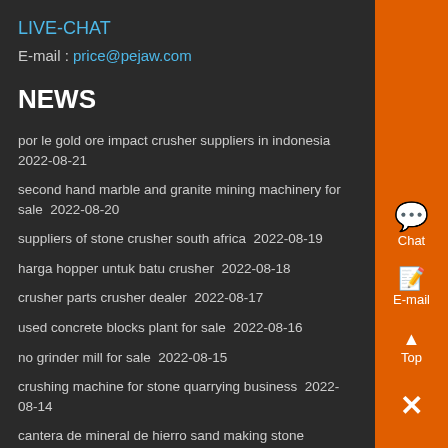LIVE-CHAT
E-mail : price@pejaw.com
NEWS
por le gold ore impact crusher suppliers in indonesia  2022-08-21
second hand marble and granite mining machinery for sale  2022-08-20
suppliers of stone crusher south africa  2022-08-19
harga hopper untuk batu crusher  2022-08-18
crusher parts crusher dealer  2022-08-17
used concrete blocks plant for sale  2022-08-16
no grinder mill for sale  2022-08-15
crushing machine for stone quarrying business  2022-08-14
cantera de mineral de hierro sand making stone